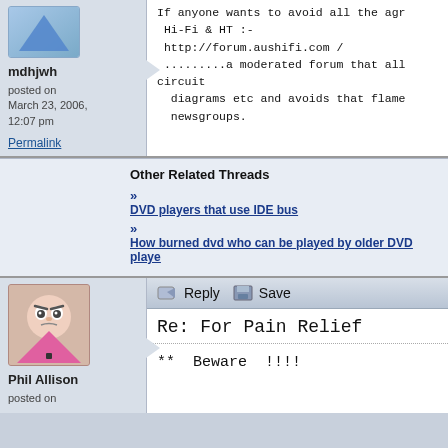[Figure (illustration): User avatar for mdhjwh - blue gradient triangle shape]
mdhjwh

posted on
March 23, 2006,
12:07 pm
Permalink
If anyone wants to avoid all the agr...
 Hi-Fi & HT :-
 http://forum.aushifi.com /
 .........a moderated forum that all...
circuit
 diagrams etc and avoids that flame ...
 newsgroups.
Other Related Threads
DVD players that use IDE bus
How burned dvd who can be played by older DVD playe...
[Figure (illustration): User avatar for Phil Allison - cartoon angry pink triangle character]
Phil Allison

posted on
Reply   Save
Re: For Pain Relief
**  Beware  !!!!